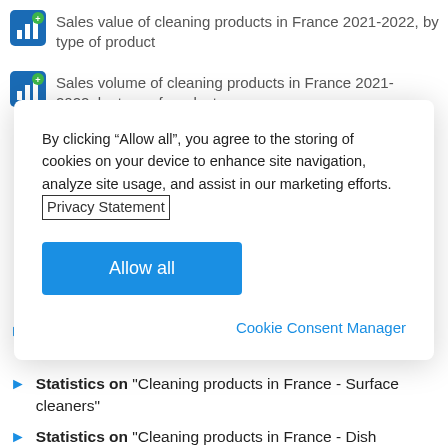Sales value of cleaning products in France 2021-2022, by type of product
Sales volume of cleaning products in France 2021-2022, by type of product
By clicking “Allow all”, you agree to the storing of cookies on your device to enhance site navigation, analyze site usage, and assist in our marketing efforts. Privacy Statement
Allow all
Cookie Consent Manager
Statistics on "Cleaning products in France - Fabric cleaners"
Statistics on "Cleaning products in France - Surface cleaners"
Statistics on "Cleaning products in France - Dish